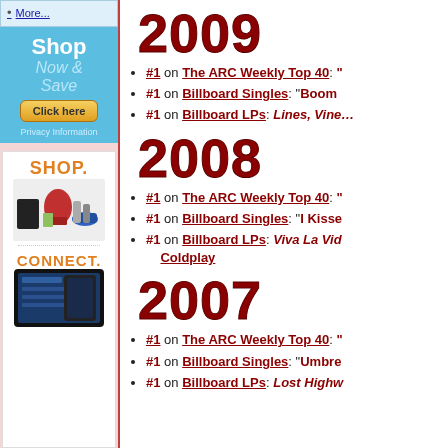More...
[Figure (infographic): Shop Now & Save advertisement banner with Click here button and Privacy Information text]
[Figure (infographic): SHOP. advertisement with product images (electronics, appliance, shoes). CONNECT. text with tablet image below.]
2009
#1 on The ARC Weekly Top 40:
#1 on Billboard Singles: "Boom..."
#1 on Billboard LPs: Lines, Vine...
2008
#1 on The ARC Weekly Top 40:
#1 on Billboard Singles: "I Kisse..."
#1 on Billboard LPs: Viva La Vic... Coldplay
2007
#1 on The ARC Weekly Top 40:
#1 on Billboard Singles: "Umbre..."
#1 on Billboard LPs: Lost Highw...